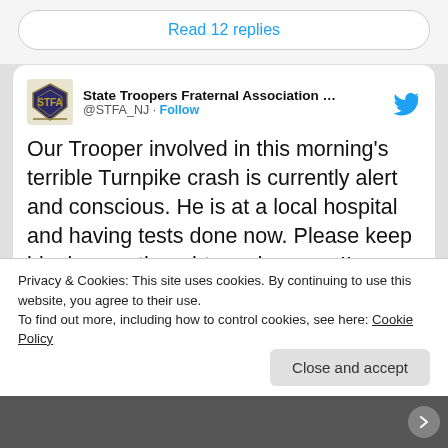Read 12 replies
State Troopers Fraternal Association ... @STFA_NJ · Follow
Our Trooper involved in this morning's terrible Turnpike crash is currently alert and conscious. He is at a local hospital and having tests done now. Please keep him in your thoughts and prayers!!
[Figure (photo): Partial image of news article and crash scene photo at bottom of tweet]
Privacy & Cookies: This site uses cookies. By continuing to use this website, you agree to their use.
To find out more, including how to control cookies, see here: Cookie Policy
Close and accept